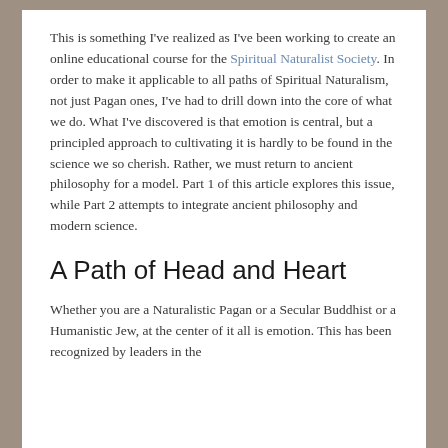This is something I've realized as I've been working to create an online educational course for the Spiritual Naturalist Society. In order to make it applicable to all paths of Spiritual Naturalism, not just Pagan ones, I've had to drill down into the core of what we do. What I've discovered is that emotion is central, but a principled approach to cultivating it is hardly to be found in the science we so cherish. Rather, we must return to ancient philosophy for a model. Part 1 of this article explores this issue, while Part 2 attempts to integrate ancient philosophy and modern science.
A Path of Head and Heart
Whether you are a Naturalistic Pagan or a Secular Buddhist or a Humanistic Jew, at the center of it all is emotion. This has been recognized by leaders in the